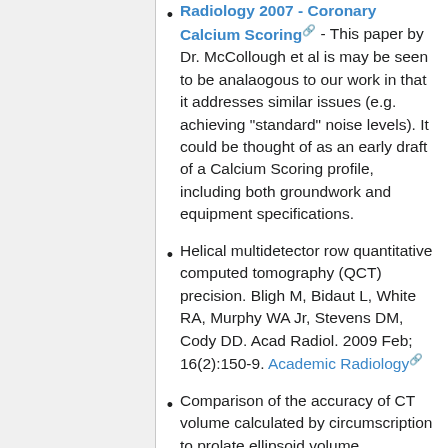Radiology 2007 - Coronary Calcium Scoring [link] - This paper by Dr. McCollough et al is may be seen to be analaogous to our work in that it addresses similar issues (e.g. achieving "standard" noise levels). It could be thought of as an early draft of a Calcium Scoring profile, including both groundwork and equipment specifications.
Helical multidetector row quantitative computed tomography (QCT) precision. Bligh M, Bidaut L, White RA, Murphy WA Jr, Stevens DM, Cody DD. Acad Radiol. 2009 Feb; 16(2):150-9. Academic Radiology [link]
Comparison of the accuracy of CT volume calculated by circumscription to prolate ellipsoid volume (bidimensional measurement...